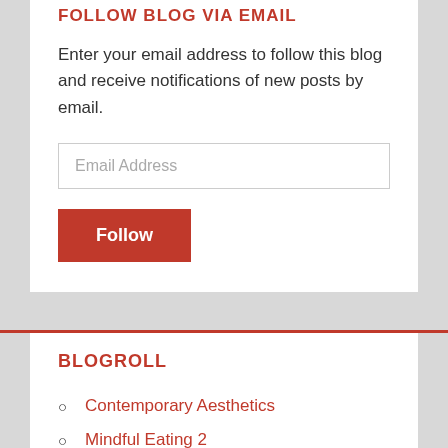FOLLOW BLOG VIA EMAIL
Enter your email address to follow this blog and receive notifications of new posts by email.
BLOGROLL
Contemporary Aesthetics
Mindful Eating 2